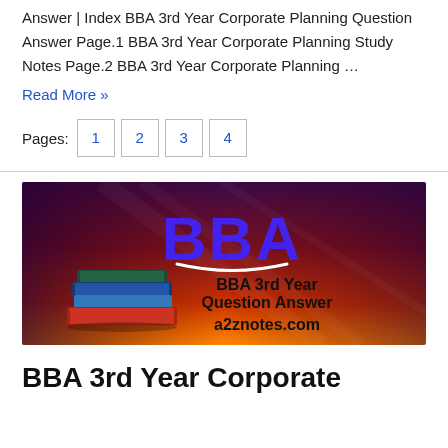Answer | Index BBA 3rd Year Corporate Planning Question Answer Page.1 BBA 3rd Year Corporate Planning Study Notes Page.2 BBA 3rd Year Corporate Planning …
Read More »
Pages: 1 2 3 4
[Figure (illustration): BBA 3rd Year Question Answer banner image with books, showing text 'BBA' in large blue letters, 'BBA 3rd Year Question Answer a2znotes.com' on a gradient red/orange/purple background]
BBA 3rd Year Corporate